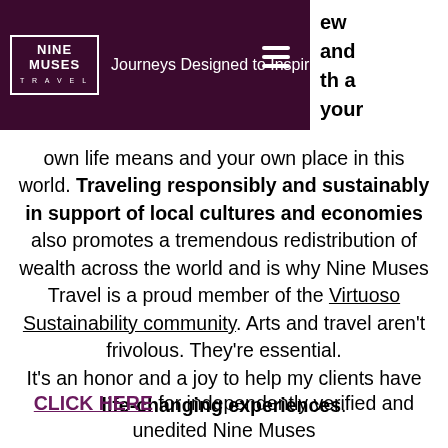NINE MUSES TRAVEL — Journeys Designed to Inspire℠
own life means and your own place in this world. Traveling responsibly and sustainably in support of local cultures and economies also promotes a tremendous redistribution of wealth across the world and is why Nine Muses Travel is a proud member of the Virtuoso Sustainability community. Arts and travel aren't frivolous. They're essential.
It's an honor and a joy to help my clients have life-changing experiences.
CLICK HERE for independently verified and unedited Nine Muses Travel client reviews